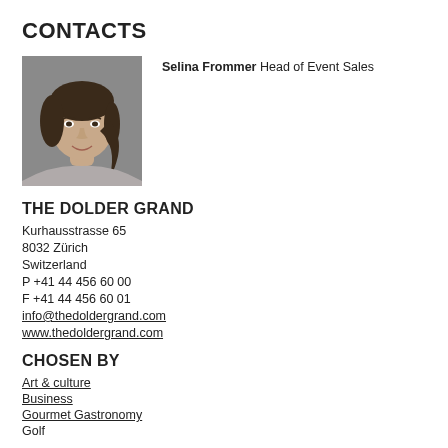CONTACTS
[Figure (photo): Portrait photo of Selina Frommer, a woman with brown hair, smiling, against a grey background.]
Selina Frommer Head of Event Sales
THE DOLDER GRAND
Kurhausstrasse 65
8032 Zürich
Switzerland
P +41 44 456 60 00
F +41 44 456 60 01
info@thedoldergrand.com
www.thedoldergrand.com
CHOSEN BY
Art & culture
Business
Gourmet Gastronomy
Golf